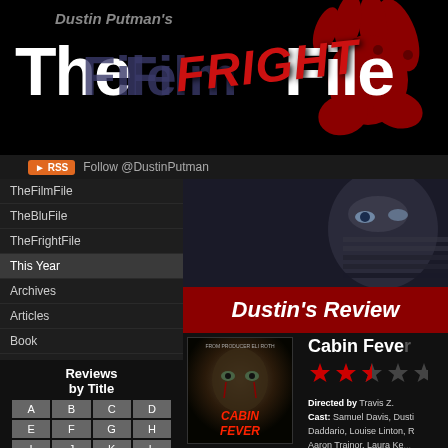Dustin Putman's The FRIGHT File
Follow @DustinPutman
TheFilmFile
TheBluFile
TheFrightFile
This Year
Archives
Articles
Book
About
Dedication
Mailing List
Contact
Reviews by Title
A B C D E F G H I J K L
Dustin's Review
Cabin Fever
[Figure (other): 2.5 out of 5 stars rating shown as red stars]
Directed by Travis Z. Cast: Samuel Davis, Dusti Daddario, Louise Linton, R Aaron Trainor, Laura Ke...